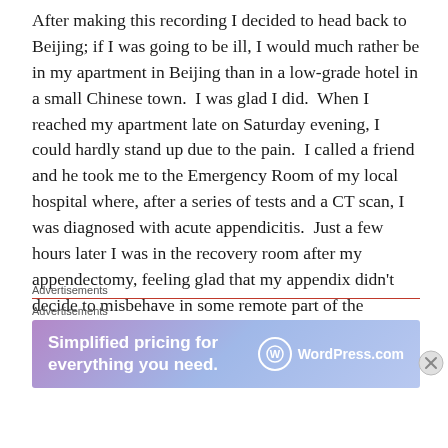After making this recording I decided to head back to Beijing; if I was going to be ill, I would much rather be in my apartment in Beijing than in a low-grade hotel in a small Chinese town.  I was glad I did.  When I reached my apartment late on Saturday evening, I could hardly stand up due to the pain.  I called a friend and he took me to the Emergency Room of my local hospital where, after a series of tests and a CT scan, I was diagnosed with acute appendicitis.  Just a few hours later I was in the recovery room after my appendectomy, feeling glad that my appendix didn't decide to misbehave in some remote part of the developing world!
Advertisements
Advertisements
[Figure (screenshot): WordPress.com advertisement banner with gradient purple-blue background. Text reads 'Simplified pricing for everything you need.' with WordPress.com logo on the right.]